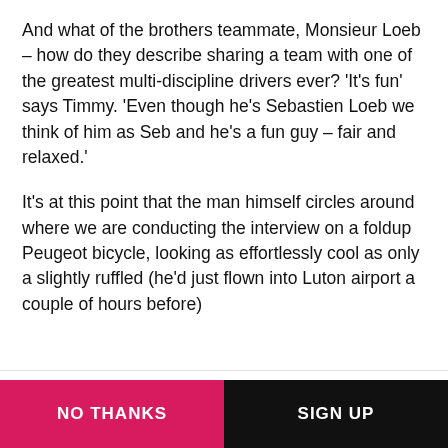And what of the brothers teammate, Monsieur Loeb – how do they describe sharing a team with one of the greatest multi-discipline drivers ever? 'It's fun' says Timmy. 'Even though he's Sebastien Loeb we think of him as Seb and he's a fun guy – fair and relaxed.'
It's at this point that the man himself circles around where we are conducting the interview on a foldup Peugeot bicycle, looking as effortlessly cool as only a slightly ruffled (he'd just flown into Luton airport a couple of hours before)
CAR magazine notifications
Sign up for all the latest breaking news, new-car alerts and the best electric buying advice
NO THANKS
SIGN UP